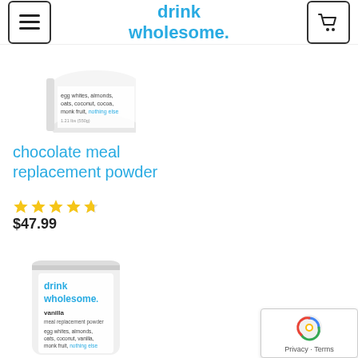drink wholesome.
[Figure (photo): Partial view of a white cylindrical canister of drink wholesome chocolate meal replacement powder with text listing ingredients: egg whites, almonds, oats, coconut, cocoa, monk fruit, nothing else]
chocolate meal replacement powder
[Figure (other): Five gold/yellow star rating icons]
$47.99
[Figure (photo): White resealable pouch of drink wholesome vanilla meal replacement powder showing ingredients: egg whites, almonds, oats, coconut, vanilla, monk fruit, nothing else]
[Figure (other): reCAPTCHA badge with Privacy and Terms links]